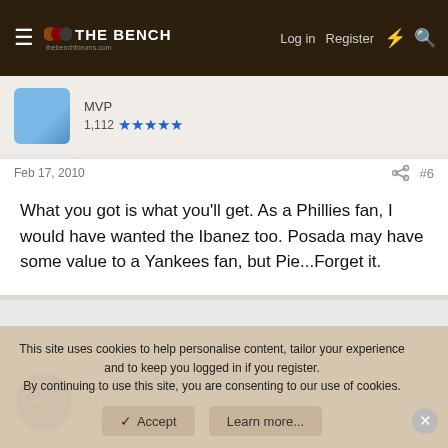The Bench forum navigation bar with Log in, Register links
MVP
1,112 ★★★★★
Feb 17, 2010  #6
What you got is what you'll get. As a Phillies fan, I would have wanted the Ibanez too. Posada may have some value to a Yankees fan, but Pie...Forget it.
worldwideed
MVP
1,144 ★★★★★
Feb 19, 2010  #7
This site uses cookies to help personalise content, tailor your experience and to keep you logged in if you register.
By continuing to use this site, you are consenting to our use of cookies.